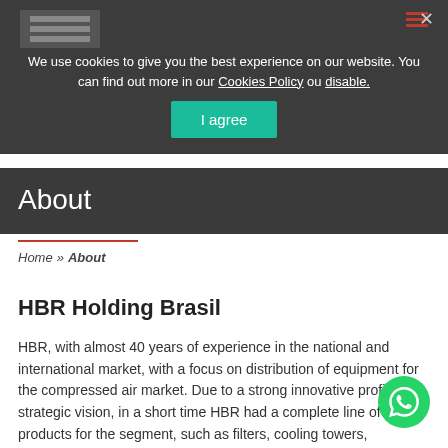We use cookies to give you the best experience on our website. You can find out more in our Cookies Policy ou disable.
I agree
About
Home » About
HBR Holding Brasil
HBR, with almost 40 years of experience in the national and international market, with a focus on distribution of equipment for the compressed air market. Due to a strong innovative profile and strategic vision, in a short time HBR had a complete line of other products for the segment, such as filters, cooling towers, reservoirs,